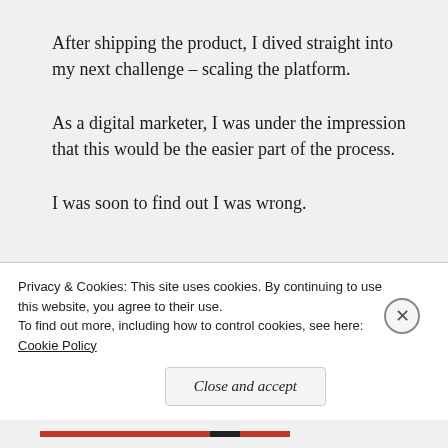After shipping the product, I dived straight into my next challenge – scaling the platform.
As a digital marketer, I was under the impression that this would be the easier part of the process.
I was soon to find out I was wrong.
With so many products now available, there's no shortage...
Privacy & Cookies: This site uses cookies. By continuing to use this website, you agree to their use.
To find out more, including how to control cookies, see here: Cookie Policy
Close and accept